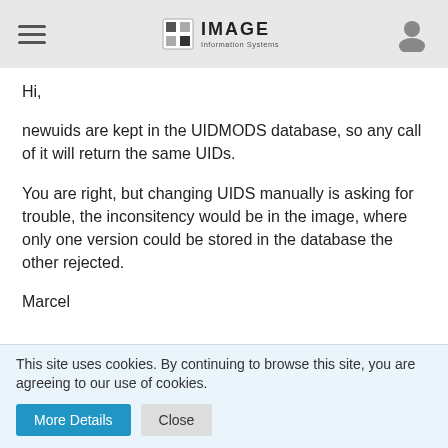IMAGE Information Systems
Hi,
newuids are kept in the UIDMODS database, so any call of it will return the same UIDs.
You are right, but changing UIDS manually is asking for trouble, the inconsitency would be in the image, where only one version could be stored in the database the other rejected.
Marcel
garlicknots
Beginner
This site uses cookies. By continuing to browse this site, you are agreeing to our use of cookies.